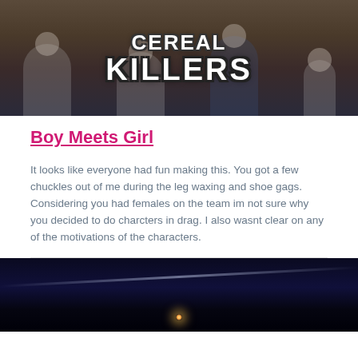[Figure (photo): Group of people eating cereal at a table with large white outlined text overlay reading 'CEREAL KILLERS']
Boy Meets Girl
It looks like everyone had fun making this. You got a few chuckles out of me during the leg waxing and shoe gags. Considering you had females on the team im not sure why you decided to do charcters in drag. I also wasnt clear on any of the motivations of the characters.
[Figure (photo): Dark nighttime scene with a faint light visible near the bottom center]